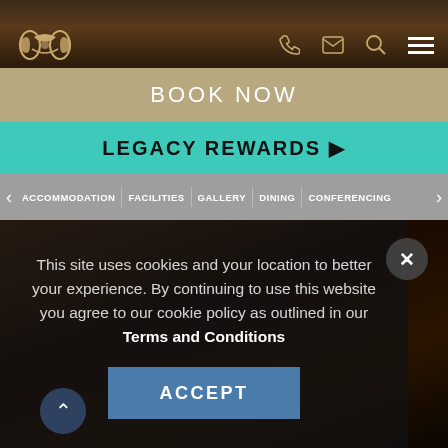[Figure (screenshot): Hotel website header with logo, phone, email, search and hamburger menu icons on a dark wood-toned background]
BOOK NOW
LEGACY REWARDS ▶
ACCOMMODATION | FACILITIES | GALLERY | DINING | CONFERENCING
[Figure (screenshot): Hotel interior dark background image partially visible]
This site uses cookies and your location to better your experience. By continuing to use this website you agree to our cookie policy as outlined in our Terms and Conditions
ACCEPT